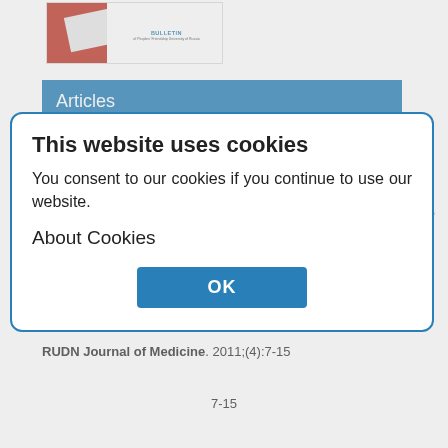[Figure (photo): Journal cover thumbnail showing a red geometric design with 'BULLETIN of Peoples' Friendship University of Russia' text]
Articles
Hormone secreted by the pineal gland - melatonin feedsideward involvement in cancer growth
Salvador Sanchez-de la Pena -., Chibisov S.M., ..litskaya E.V., Frolov V.A.
Abstract
Here the presence of a chronomodulating actions of melatonin via feedsideawards
This website uses cookies
You consent to our cookies if you continue to use our website.
About Cookies
OK
Show
RUDN Journal of Medicine. 2011;(4):7-15
7-15